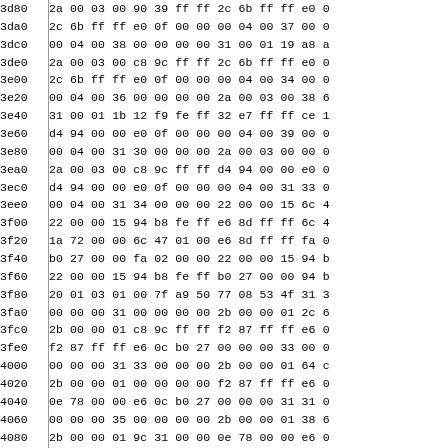| Address | Data |
| --- | --- |
| 3d80 | 2a 00 03 00 90 39 ff ff 2c 6b ff ff e0 0 |
| 3da0 | 2c 6b ff ff e0 0f 00 00 00 04 00 37 00 0 |
| 3dc0 | 00 04 00 38 00 00 00 00 31 00 01 19 a8 a |
| 3de0 | 2a 00 03 00 c8 9c ff ff 2c 6b ff ff e0 0 |
| 3e00 | 2c 6b ff ff e0 0f 00 00 00 04 00 34 00 0 |
| 3e20 | 00 04 00 36 00 00 00 00 2a 00 03 00 38 6 |
| 3e40 | 31 00 01 1b 12 f9 fe ff 32 e7 ff ff ce 1 |
| 3e60 | d4 94 00 00 e0 0f 00 00 00 04 00 39 00 0 |
| 3e80 | 00 04 00 31 30 00 00 00 2a 00 03 00 00 0 |
| 3ea0 | 2a 00 03 00 c8 9c ff ff d4 94 00 00 e0 0 |
| 3ec0 | d4 94 00 00 e0 0f 00 00 00 04 00 31 33 0 |
| 3ee0 | 00 04 00 31 34 00 00 00 22 00 00 15 6c 4 |
| 3f00 | 22 00 00 15 94 b8 fe ff e6 8d ff ff 6c 4 |
| 3f20 | 1a 72 00 00 6c 47 01 00 e6 8d ff ff fa 0 |
| 3f40 | b0 27 00 00 fa 02 00 00 22 00 00 15 94 b |
| 3f60 | 22 00 00 15 94 b8 fe ff b0 27 00 00 94 b |
| 3f80 | 20 01 03 01 00 7f a9 50 77 08 53 4f 31 3 |
| 3fa0 | 00 00 00 31 00 00 00 00 2b 00 00 01 2c 6 |
| 3fc0 | 2b 00 00 01 c8 9c ff ff f2 87 ff ff e6 0 |
| 3fe0 | f2 87 ff ff e6 0c b0 27 00 00 00 33 00 0 |
| 4000 | 00 00 00 31 33 00 00 00 2b 00 00 01 64 c |
| 4020 | 2b 00 00 01 00 00 00 00 f2 87 ff ff e6 0 |
| 4040 | 0e 78 00 00 e6 0c b0 27 00 00 00 31 31 0 |
| 4060 | 00 00 00 35 00 00 00 00 2b 00 00 01 38 6 |
| 4080 | 2b 00 00 01 9c 31 00 00 0e 78 00 00 e6 0 |
| 40a0 | 0e 78 00 00 e6 0c b0 27 00 00 00 39 00 0 |
| 40c0 | 00 00 00 37 00 00 00 00 2b 00 00 01 d4 9 |
| 40e0 | 22 00 00 33 c0 9e 00 00 66 4c 00 00 40 6 |
| 4100 | 3c e2 ff ff ce 18 28 00 00 00 3e 56 41 4 |
| 4120 | 00 04 3e 4e 41 4d 45 00 22 00 00 15 c0 9 |
| 4140 | 00 00 00 47 5a 50 00 00 01 01 00 00 40 4 |